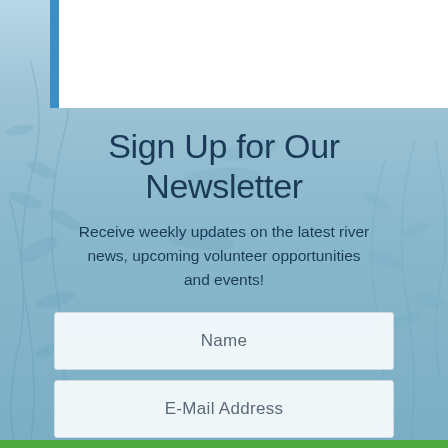[Figure (photo): Blue-toned background with faint waterplant/foliage imagery, partially shown white top navigation bar area]
Sign Up for Our Newsletter
Receive weekly updates on the latest river news, upcoming volunteer opportunities and events!
Name
E-Mail Address